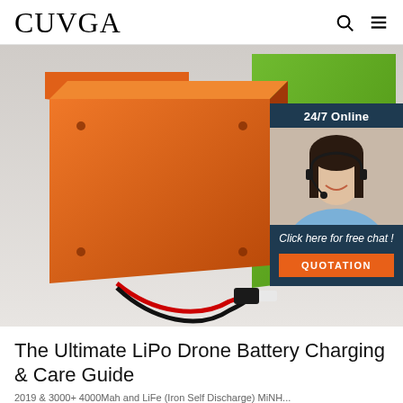CUVGA
[Figure (photo): LiPo battery with orange casing and red/black wired connector, placed in front of orange and green block backgrounds. A customer service chat widget overlay appears on the right side showing '24/7 Online', a woman with headset, 'Click here for free chat!' text, and an orange 'QUOTATION' button.]
The Ultimate LiPo Drone Battery Charging & Care Guide
2019 & 3000+ 4000Mah and LiFe (Iron Self Discharge) MiNH...